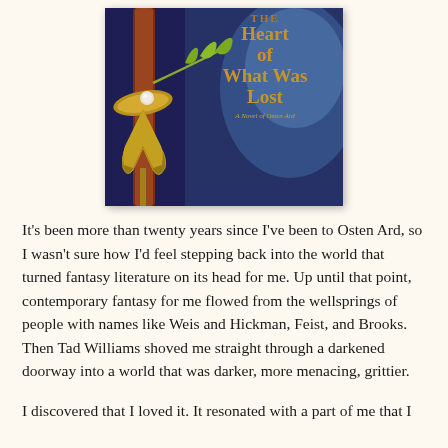[Figure (photo): Book cover of 'The Heart of What Was Lost: A Novel of Osten Ard' showing a fantasy sword with an ornate hilt decorated with a sprouting branch/leaf, set against a dark blue night sky background. The title text appears in gold lettering.]
It's been more than twenty years since I've been to Osten Ard, so I wasn't sure how I'd feel stepping back into the world that turned fantasy literature on its head for me. Up until that point, contemporary fantasy for me flowed from the wellsprings of people with names like Weis and Hickman, Feist, and Brooks. Then Tad Williams shoved me straight through a darkened doorway into a world that was darker, more menacing, grittier.
I discovered that I loved it. It resonated with a part of me that I